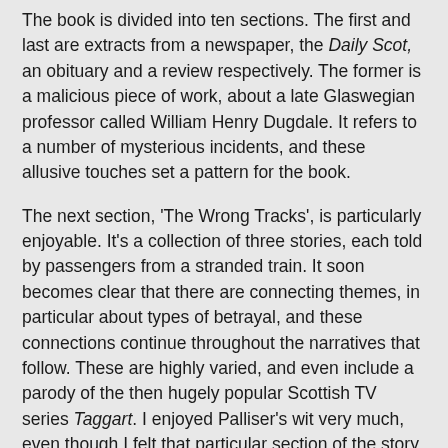The book is divided into ten sections. The first and last are extracts from a newspaper, the Daily Scot, an obituary and a review respectively. The former is a malicious piece of work, about a late Glaswegian professor called William Henry Dugdale. It refers to a number of mysterious incidents, and these allusive touches set a pattern for the book.
The next section, 'The Wrong Tracks', is particularly enjoyable. It's a collection of three stories, each told by passengers from a stranded train. It soon becomes clear that there are connecting themes, in particular about types of betrayal, and these connections continue throughout the narratives that follow. These are highly varied, and even include a parody of the then hugely popular Scottish TV series Taggart. I enjoyed Palliser's wit very much, even though I felt that particular section of the story was expanded beyond its natural length.
That said, the book doesn't, in the end, hang together quite as well as I'd hoped. There are various deliberate infelicities in the texts, and I'd anticipated a satisfying explanation for them; if one was provided, I missed it. I certainly got the